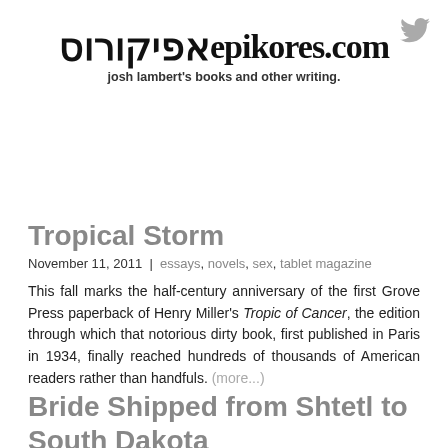[Figure (logo): Twitter bird icon in grey, top right corner]
אפיקורוסepikores.com — josh lambert's books and other writing.
Tropical Storm
November 11, 2011 | essays, novels, sex, tablet magazine
This fall marks the half-century anniversary of the first Grove Press paperback of Henry Miller's Tropic of Cancer, the edition through which that notorious dirty book, first published in Paris in 1934, finally reached hundreds of thousands of American readers rather than handfuls. (more...)
Bride Shipped from Shtetl to South Dakota